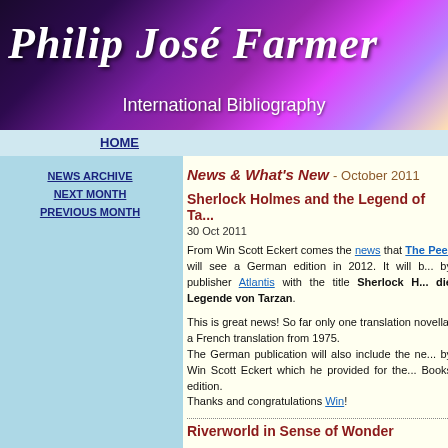[Figure (illustration): Philip José Farmer International Bibliography website banner with decorative purple/magenta galaxy background and white italic text]
HOME
NEWS ARCHIVE
NEXT MONTH
PREVIOUS MONTH
News & What's New - October 2011
Sherlock Holmes and the Legend of Tar...
30 Oct 2011
From Win Scott Eckert comes the news that The Peer will see a German edition in 2012. It will be by publisher Atlantis with the title Sherlock H... die Legende von Tarzan.
This is great news! So far only one translation novella, a French translation from 1975. The German publication will also include the ne... by Win Scott Eckert which he provided for the... Books edition. Thanks and congratulations Win!
Riverworld in Sense of Wonder